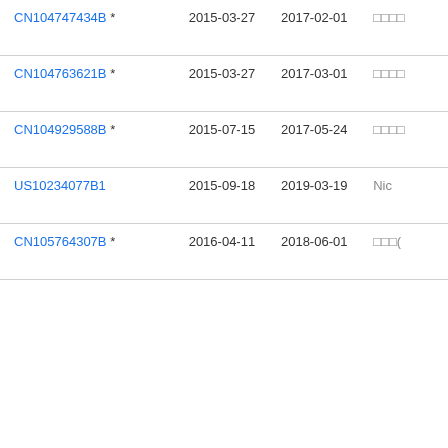| Patent | Filing Date | Publication Date | Assignee |
| --- | --- | --- | --- |
| CN104747434B * | 2015-03-27 | 2017-02-01 | □□□□ |
| CN104763621B * | 2015-03-27 | 2017-03-01 | □□□□ |
| CN104929588B * | 2015-07-15 | 2017-05-24 | □□□□ |
| US10234077B1 | 2015-09-18 | 2019-03-19 | Nic |
| CN105764307B * | 2016-04-11 | 2018-06-01 | □□□( |